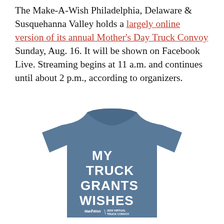The Make-A-Wish Philadelphia, Delaware & Susquehanna Valley holds a largely online version of its annual Mother's Day Truck Convoy Sunday, Aug. 16. It will be shown on Facebook Live. Streaming begins at 11 a.m. and continues until about 2 p.m., according to organizers.
[Figure (illustration): A blue/slate-colored t-shirt with white bold text reading 'MY TRUCK GRANTS WISHES' and smaller text below showing Make-A-Wish logo and '2020 VIRTUAL TRUCK CONVOY']